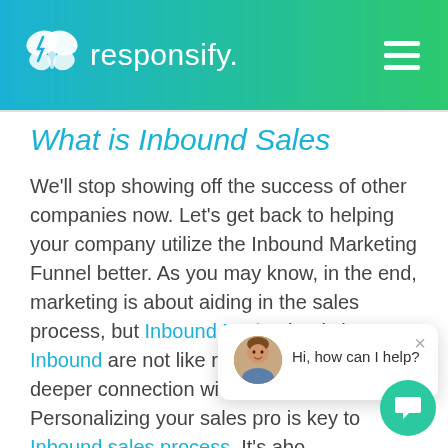responsify.
What is Inbound Sales
We'll stop showing off the success of other companies now. Let's get back to helping your company utilize the Inbound Marketing Funnel better. As you may know, in the end, marketing is about aiding in the sales process, but Inbound Marketing leads into Inbound are not like regular and creates a deeper connection with the customer. Personalizing your sales process is key to Inbound sales process. It's about seeing the buyer as a human being rather
[Figure (screenshot): Chat widget overlay showing an avatar photo of a man, with text 'Hi, how can I help?' and a close button (×). Below, a teal circular chat button.]